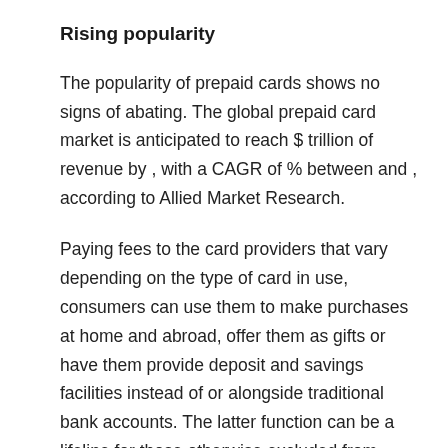Rising popularity
The popularity of prepaid cards shows no signs of abating. The global prepaid card market is anticipated to reach $ trillion of revenue by , with a CAGR of % between and , according to Allied Market Research.
Paying fees to the card providers that vary depending on the type of card in use, consumers can use them to make purchases at home and abroad, offer them as gifts or have them provide deposit and savings facilities instead of or alongside traditional bank accounts. The latter function can be a lifeline for those otherwise excluded from